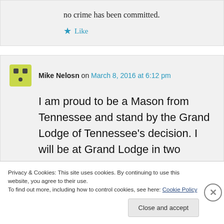no crime has been committed.
★ Like
Mike Nelosn on March 8, 2016 at 6:12 pm
I am proud to be a Mason from Tennessee and stand by the Grand Lodge of Tennessee's decision. I will be at Grand Lodge in two weeks to help ratify that
Privacy & Cookies: This site uses cookies. By continuing to use this website, you agree to their use.
To find out more, including how to control cookies, see here: Cookie Policy
Close and accept